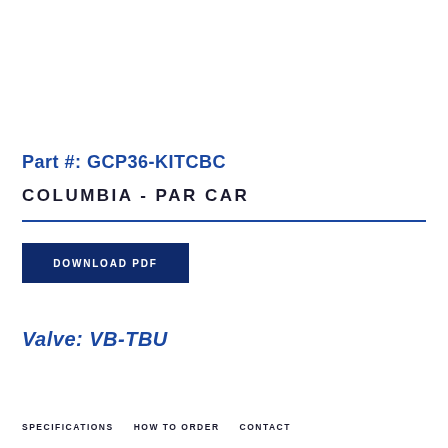Part #: GCP36-KITCBC
COLUMBIA - PAR CAR
DOWNLOAD PDF
Valve: VB-TBU
SPECIFICATIONS    HOW TO ORDER    CONTACT